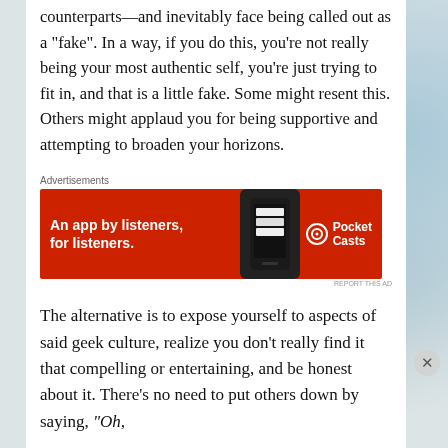counterparts—and inevitably face being called out as a “fake”. In a way, if you do this, you’re not really being your most authentic self, you’re just trying to fit in, and that is a little fake. Some might resent this. Others might applaud you for being supportive and attempting to broaden your horizons.
Advertisements
[Figure (screenshot): Pocket Casts advertisement banner: red background with white bold text 'An app by listeners, for listeners.' and Pocket Casts logo on right, phone image in center showing 'Distributed' text]
REPORT THIS AD
The alternative is to expose yourself to aspects of said geek culture, realize you don’t really find it that compelling or entertaining, and be honest about it. There’s no need to put others down by saying, “Oh,
Advertisements
[Figure (screenshot): DuckDuckGo advertisement banner: red background with white text 'Search, browse, and email with more privacy.' and 'All in One Free App' white button, DuckDuckGo logo on black right panel]